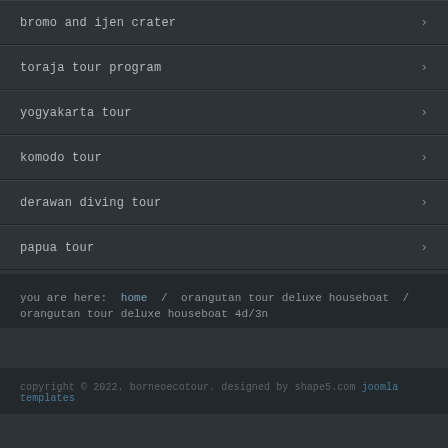bromo and ijen crater
toraja tour program
yogyakarta tour
komodo tour
derawan diving tour
papua tour
you are here:  home  /  orangutan tour deluxe houseboat  /  orangutan tour deluxe houseboat 4d/3n
copyright © 2022. borneoecotour. designed by shape5.com joomla templates